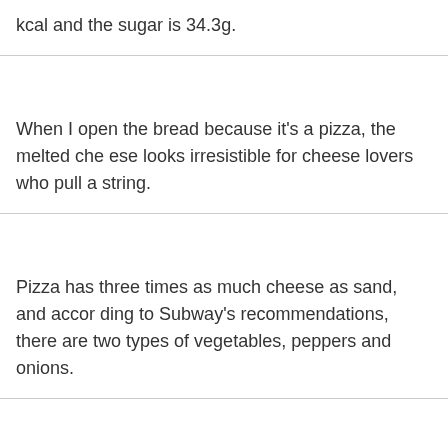kcal and the sugar is 34.3g.
When I open the bread because it's a pizza, the melted cheese looks irresistible for cheese lovers who pull a string.
Pizza has three times as much cheese as sand, and according to Subway's recommendations, there are two types of vegetables, peppers and onions.
The editorial staff who tried it said, 'I feel like cheese fondue because I'm eating a lot of cheese,' and 'I can feel the scent of porcini mushrooms in the rich cheese, and the scent